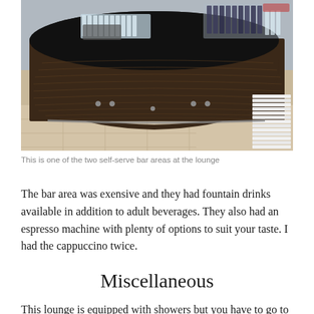[Figure (photo): Interior photo of a large rounded bar counter with dark wood grain panels and black countertop, with stacked glasses on top and stacked white plates visible on the right side]
This is one of the two self-serve bar areas at the lounge
The bar area was exensive and they had fountain drinks available in addition to adult beverages. They also had an espresso machine with plenty of options to suit your taste. I had the cappuccino twice.
Miscellaneous
This lounge is equipped with showers but you have to go to the